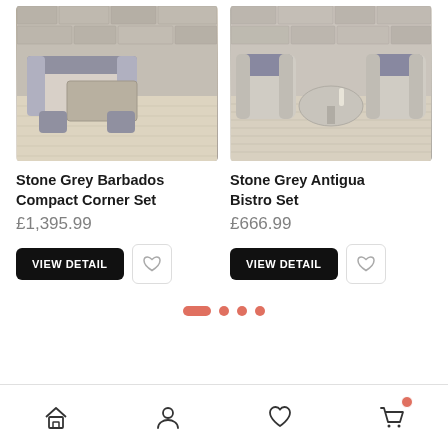[Figure (photo): Outdoor wicker rattan corner sofa dining set with grey cushions and footstools on a patio with stone wall backdrop]
Stone Grey Barbados Compact Corner Set
£1,395.99
[Figure (photo): Outdoor rattan bistro set with two chairs with grey cushions and a round table on a wooden deck with stone wall backdrop]
Stone Grey Antigua Bistro Set
£666.99
Navigation bar with home, account, wishlist, and cart icons